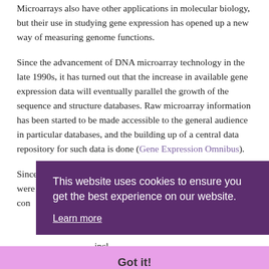Microarrays also have other applications in molecular biology, but their use in studying gene expression has opened up a new way of measuring genome functions.
Since the advancement of DNA microarray technology in the late 1990s, it has turned out that the increase in available gene expression data will eventually parallel the growth of the sequence and structure databases. Raw microarray information has been started to be made accessible to the general audience in particular databases, and the building up of a central data repository for such data is done (Gene Expression Omnibus).
Since a significant number of the early microarray experiments were performed at Stanford, their genome resources site has con... que... Fur... inst... mic... exis... incl... inno... con...
[Figure (screenshot): Cookie consent banner overlay with purple background reading 'This website uses cookies to ensure you get the best experience on our website.' with a 'Learn more' link, and a pink 'Got it!' button bar at the bottom.]
The combination of these two systems is an intense tool for